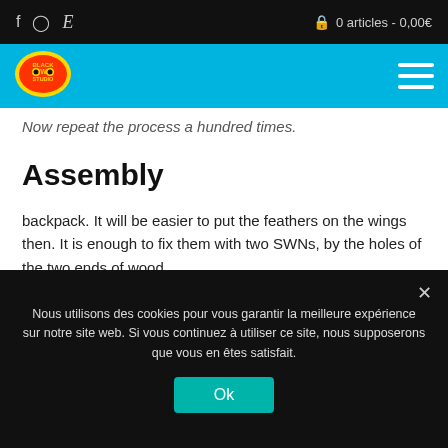f  ©  E    🔒 0 articles - 0,00€
[Figure (logo): Black Owl Studio logo — yellow and red circular badge with text]
Now repeat the process a hundred times.
Assembly
backpack. It will be easier to put the feathers on the wings then. It is enough to fix them with two SWNs, by the holes of the two ends of wood.
To keep the wings open, you can tighten both SWNs temporarily.
Nous utilisons des cookies pour vous garantir la meilleure expérience sur notre site web. Si vous continuez à utiliser ce site, nous supposerons que vous en êtes satisfait.